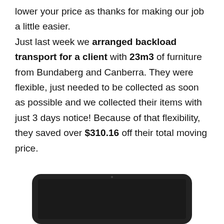lower your price as thanks for making our job a little easier. Just last week we arranged backload transport for a client with 23m3 of furniture from Bundaberg and Canberra. They were flexible, just needed to be collected as soon as possible and we collected their items with just 3 days notice! Because of that flexibility, they saved over $310.16 off their total moving price.
[Figure (illustration): Partial view of a laptop computer showing the screen bezel and top portion of the dark screen, cropped at the bottom of the page.]